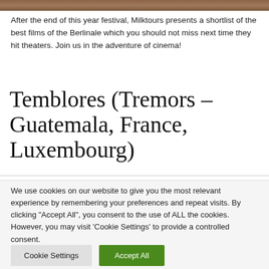[Figure (photo): Top strip of a photo, brown/earthy tones visible at top of page]
After the end of this year festival, Milktours presents a shortlist of the best films of the Berlinale which you should not miss next time they hit theaters. Join us in the adventure of cinema!
Temblores (Tremors – Guatemala, France, Luxembourg)
We use cookies on our website to give you the most relevant experience by remembering your preferences and repeat visits. By clicking "Accept All", you consent to the use of ALL the cookies. However, you may visit 'Cookie Settings' to provide a controlled consent.